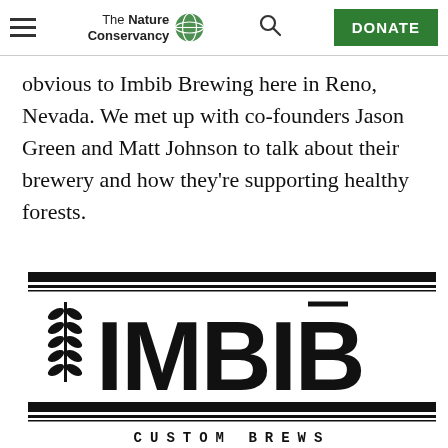The Nature Conservancy — DONATE
obvious to Imbib Brewing here in Reno, Nevada. We met up with co-founders Jason Green and Matt Johnson to talk about their brewery and how they're supporting healthy forests.
[Figure (logo): IMBIB Custom Brews logo with wheat stalks, decorative horizontal lines, large IMBIB lettering, and CUSTOM BREWS text below]